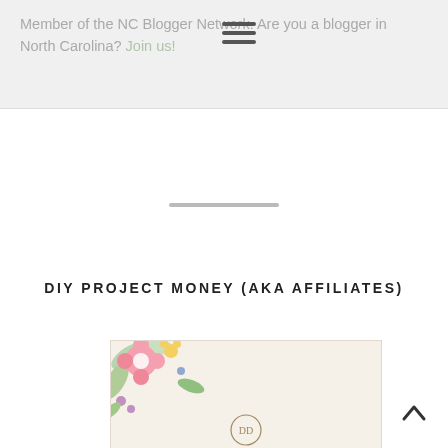Member of the NC Blogger Network. Are you a blogger in North Carolina? Join us!
DIY PROJECT MONEY (AKA AFFILIATES)
[Figure (illustration): Day Designer advertisement banner: floral corner decoration, circular logo, brand name 'DAY DESIGNER', heading '2022-23 Academic Year Planners', italic tagline 'Life, well designed.', golden 'SHOP ONLINE' button, with a planner and gold pen partially visible.]